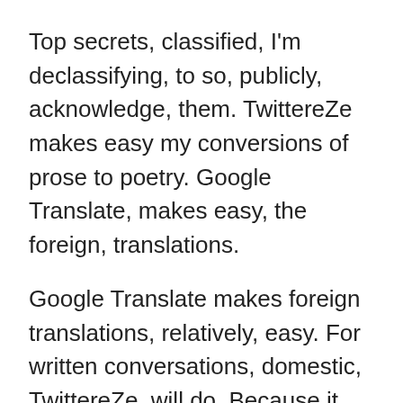Top secrets, classified, I'm declassifying, to so, publicly, acknowledge, them. TwittereZe makes easy my conversions of prose to poetry. Google Translate, makes easy, the foreign, translations.
Google Translate makes foreign translations, relatively, easy. For written conversations, domestic, TwittereZe, will do. Because it makes for easy conversion of my prose, to my poetry.
TwittereZe allows easy conversion of prose to poetry. And Google Translate makes translation possible. Indeed, my purpose on Earth, is to facilitate — peace and prosperity — via poetry.
Multiple are my purposes. TwittereZe poetry, Google Translate, translates. Witness, poetry, become an